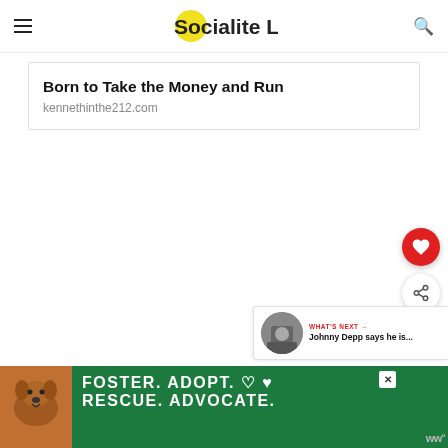Socialite Life
Born to Take the Money and Run
kennethinthe212.com
[Figure (screenshot): Red heart favorite button floating on right side]
[Figure (screenshot): Share button floating on right side]
[Figure (screenshot): What's Next panel with Johnny Depp thumbnail - 'WHAT'S NEXT → Johnny Depp says he is...']
[Figure (illustration): Foster Adopt Rescue Advocate advertisement banner with dog image and heart icons]